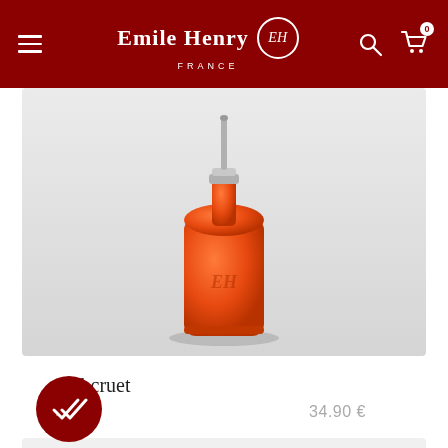Emile Henry FRANCE
[Figure (photo): An orange ceramic oil cruet bottle with a metal stopper/spout on a light grey gradient background. The bottle is rounded and squat with the Emile Henry EH logo embossed on the front.]
Oil cruet
34.90 €